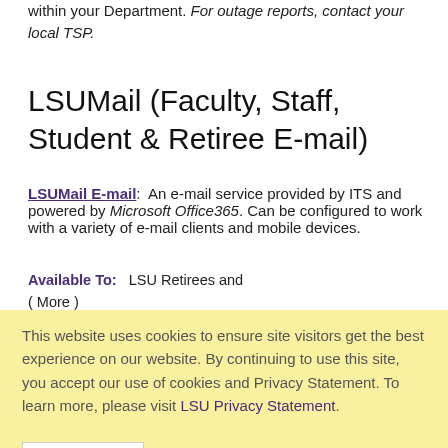within your Department. For outage reports, contact your local TSP.
LSUMail (Faculty, Staff, Student & Retiree E-mail)
LSUMail E-mail: An e-mail service provided by ITS and powered by Microsoft Office365. Can be configured to work with a variety of e-mail clients and mobile devices.
Available To: LSU Retirees and (More)
This website uses cookies to ensure site visitors get the best experience on our website. By continuing to use this site, you accept our use of cookies and Privacy Statement. To learn more, please visit LSU Privacy Statement.
myLSU Portal: Updating the Email Address for a forwarding only account
Article Id: 20156
Category: E-mail Services